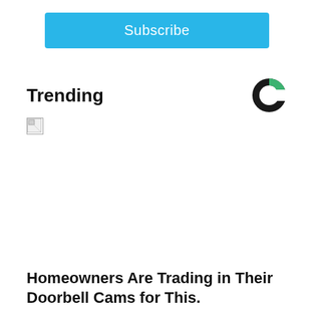Subscribe
Trending
[Figure (logo): Circular logo with black and green segments on white background]
[Figure (photo): Broken/unloaded image placeholder]
Homeowners Are Trading in Their Doorbell Cams for This.